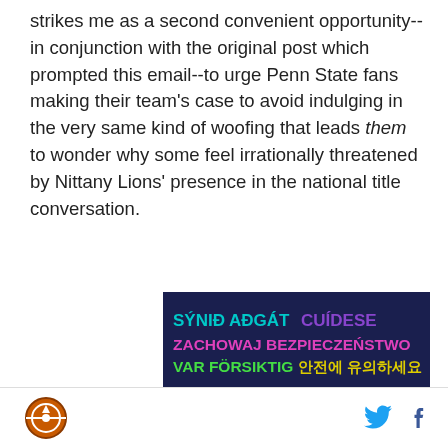strikes me as a second convenient opportunity--in conjunction with the original post which prompted this email--to urge Penn State fans making their team's case to avoid indulging in the very same kind of woofing that leads them to wonder why some feel irrationally threatened by Nittany Lions' presence in the national title conversation.
[Figure (infographic): Dark navy blue banner with multilingual 'BE SAFE' message. Top lines read: 'SÝNIĐ AÐGÁT CUÍDESE' in cyan/teal and purple, 'ZACHOWAJ BEZPIECZEŃSTWO' in pink/magenta, 'VAR FÖRSIKTIG 안전에 유의하세요' in green and yellow. Large white bold text reads 'BE SAFE' at the bottom.]
SB Nation logo | Twitter icon | Facebook icon